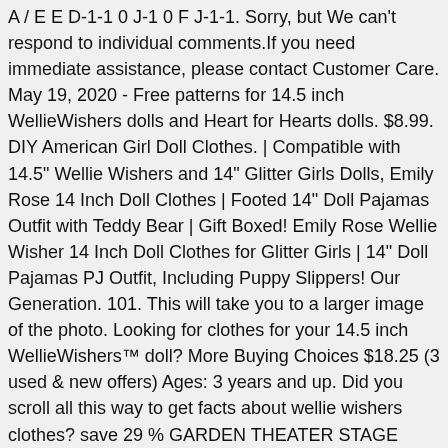A / E E D-1-1 0 J-1 0 F J-1-1. Sorry, but We can't respond to individual comments.If you need immediate assistance, please contact Customer Care. May 19, 2020 - Free patterns for 14.5 inch WellieWishers dolls and Heart for Hearts dolls. $8.99. DIY American Girl Doll Clothes. | Compatible with 14.5" Wellie Wishers and 14" Glitter Girls Dolls, Emily Rose 14 Inch Doll Clothes | Footed 14" Doll Pajamas Outfit with Teddy Bear | Gift Boxed! Emily Rose Wellie Wisher 14 Inch Doll Clothes for Glitter Girls | 14" Doll Pajamas PJ Outfit, Including Puppy Slippers! Our Generation. 101. This will take you to a larger image of the photo. Looking for clothes for your 14.5 inch WellieWishers™ doll? More Buying Choices $18.25 (3 used & new offers) Ages: 3 years and up. Did you scroll all this way to get facts about wellie wishers clothes? save 29 % GARDEN THEATER STAGE WELLIE WISHERS BY… by Wellie Wishers. Showing slide [CURRENT_SLIDE] of [TOTAL_SLIDES] - Shop by Type. | Glitter Girls Doll Clothes for Wellie Wisher Dolls | Gift Boxed for Easter! Go to previous slide - Shop by Type . Buy XADP 5 Sets Doll Clothes Dresses Clothing for 14 Inch and 14.5 Inch Dolls American Girl Wellie